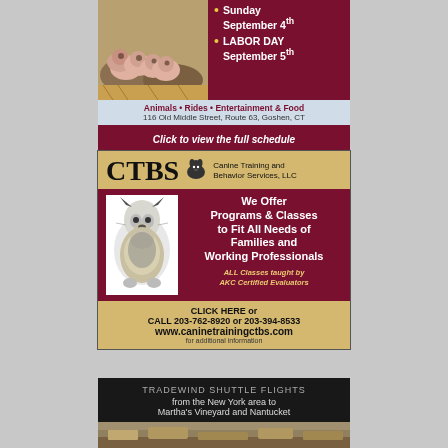[Figure (infographic): Fair advertisement top section with piglets photo, dark red background, bullet dates: Sunday September 4th, LABOR DAY September 5th]
Animals • Rides • Entertainment & Food
116 Old Middle Street, Route 63, Goshen, CT
Click to view the full schedule
[Figure (infographic): CTBS Canine Training and Behavior Services LLC advertisement with German Shepherd illustration]
CTBS Canine Training and Behavior Services, LLC
We Offer Programs & Classes to Fit All Needs of Families and Working Professionals
ALL Classes taught by AKC Certified Evaluators
CLICK HERE or
CALL 203-762-8920 or 203-394-8533
www.caninetrainingctbs.com
for additional information
[Figure (infographic): Tradewind Shuttle Flights advertisement, dark background, text about flights from New York area to Martha's Vineyard and Nantucket]
TRADEWIND SHUTTLE FLIGHTS
from the New York area to
Martha's Vineyard and Nantucket